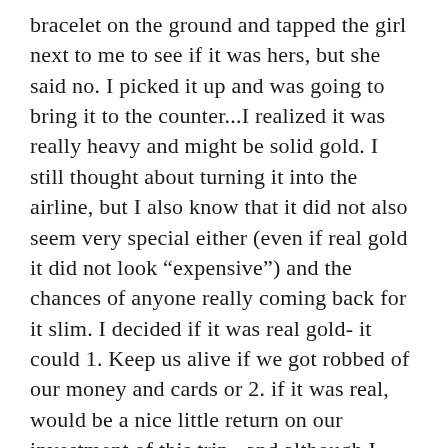bracelet on the ground and tapped the girl next to me to see if it was hers, but she said no. I picked it up and was going to bring it to the counter...I realized it was really heavy and might be solid gold. I still thought about turning it into the airline, but I also know that it did not also seem very special either (even if real gold it did not look “expensive”) and the chances of anyone really coming back for it slim. I decided if it was real gold- it could 1. Keep us alive if we got robbed of our money and cards or 2. if it was real, would be a nice little return on our investment of this trip...and although I normally would not keep it, felt perhaps this little trinket was found for a reason. We will see...and of course the bad karma I will probably get for it- especially as it will be worth nothing, I am sure, will be a price I pay forever for a piece of crap costume jewelry bracelet...but isn’t that just how it works out anyway? I do have that tattoo no good deed goes unpunished for a reason!